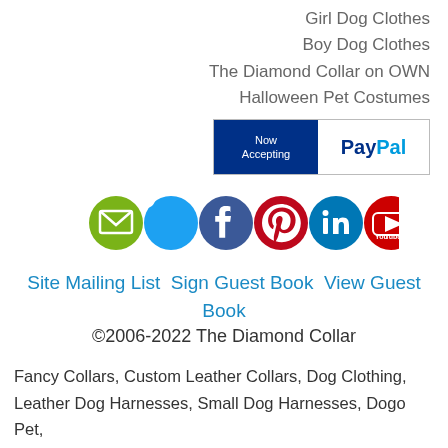Girl Dog Clothes
Boy Dog Clothes
The Diamond Collar on OWN
Halloween Pet Costumes
[Figure (logo): Now Accepting PayPal badge with blue left panel and white right panel]
[Figure (infographic): Six social media icons: email (green), Twitter (cyan), Facebook (dark blue), Pinterest (red), LinkedIn (dark blue), YouTube (red)]
Site Mailing List  Sign Guest Book  View Guest Book
©2006-2022 The Diamond Collar
Fancy Collars, Custom Leather Collars, Dog Clothing, Leather Dog Harnesses, Small Dog Harnesses, Dogo Pet,